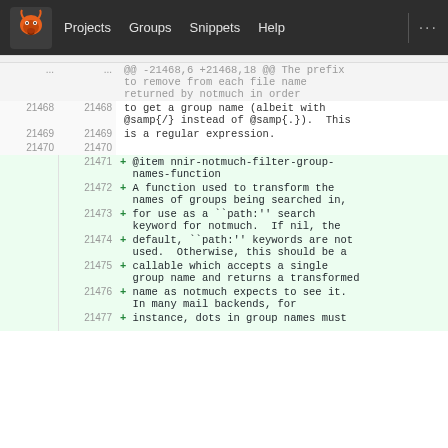Projects  Groups  Snippets  Help  ...
[Figure (screenshot): GitLab-style code diff view showing lines 21468-21477 with context lines and added lines (+) for nnir-notmuch-filter-group-names-function documentation]
@@ -21468,6 +21468,18 @@ The prefix to remove from each file name returned by notmuch in order
21468  21468  to get a group name (albeit with @samp{/} instead of @samp{.}).  This
21469  21469  is a regular expression.
21470  21470
21471  + @item nnir-notmuch-filter-group-names-function
21472  + A function used to transform the names of groups being searched in,
21473  + for use as a ``path:'' search keyword for notmuch.  If nil, the
21474  + default, ``path:'' keywords are not used.  Otherwise, this should be a
21475  + callable which accepts a single group name and returns a transformed
21476  + name as notmuch expects to see it.  In many mail backends, for
21477  + instance, dots in group names must